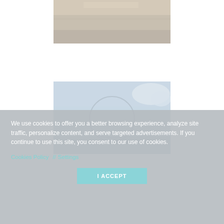[Figure (photo): Top photo showing a muted sandy/hazy landscape or beach scene with pale sky]
[Figure (photo): Bottom photo showing a pale blue sky with a cloud and a partially visible circular watermark/logo overlay]
We use cookies to offer you a better browsing experience, analyze site traffic, personalize content, and serve targeted advertisements. If you continue to use this site, you consent to our use of cookies.
Cookies Policy   Settings
I ACCEPT